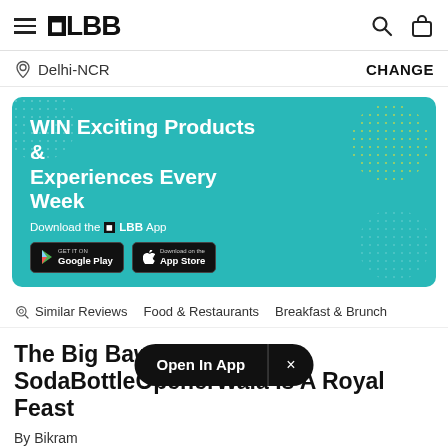≡ LBB [search icon] [bag icon]
📍 Delhi-NCR    CHANGE
[Figure (infographic): Teal banner ad: WIN Exciting Products & Experiences Every Week. Download the LBB App. Google Play and App Store buttons. Decorative dot patterns in corners.]
Similar Reviews    Food & Restaurants    Breakfast & Brunch
The Big Baw... SodaBottleOpenerWala Is A Royal Feast
Open In App  ×
By Bikram